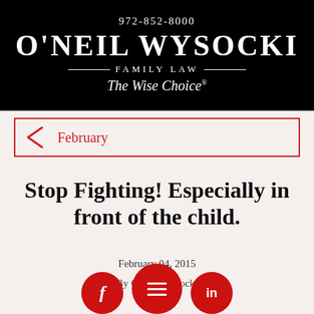972-852-8000 O'NEIL WYSOCKI FAMILY LAW The Wise Choice®
February
Stop Fighting! Especially in front of the child.
February 04, 2015
By O'Neil Wysocki
[Figure (other): Social media icons: Facebook, share/menu, LinkedIn circles at bottom of page]